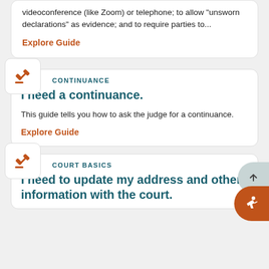videoconference (like Zoom) or telephone; to allow "unsworn declarations" as evidence; and to require parties to...
Explore Guide
CONTINUANCE
I need a continuance.
This guide tells you how to ask the judge for a continuance.
Explore Guide
COURT BASICS
I need to update my address and other information with the court.